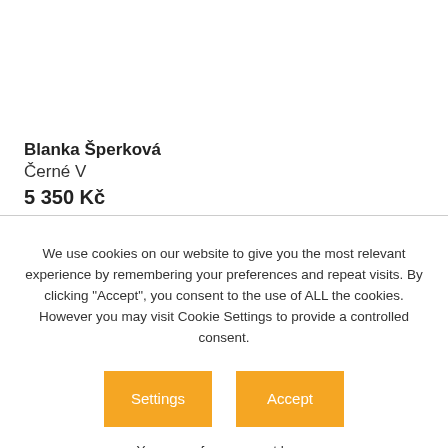Blanka Šperková
Černé V
5 350 Kč
We use cookies on our website to give you the most relevant experience by remembering your preferences and repeat visits. By clicking "Accept", you consent to the use of ALL the cookies. However you may visit Cookie Settings to provide a controlled consent.
Settings
Accept
You can refuse consent here.